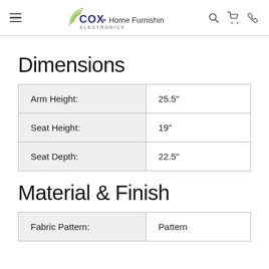COX Electronics + Home Furnishings
Dimensions
|  |  |
| --- | --- |
| Arm Height: | 25.5" |
| Seat Height: | 19" |
| Seat Depth: | 22.5" |
Material & Finish
|  |  |
| --- | --- |
| Fabric Pattern: | Pattern |